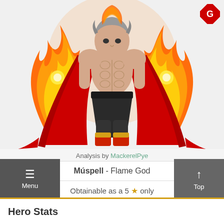[Figure (illustration): Anime-style character Muspell the Flame God standing with arms spread, wearing black pants, red cape, gold boots, with fire/flames surrounding upper body. Character has muscular build with exposed torso engulfed in flames.]
[Figure (logo): Red diamond-shaped logo with a stylized white G icon, top-right corner]
Analysis by MackerelPye
| Múspell - Flame God |
| Obtainable as a 5 ★ only |
Menu
Top
Hero Stats